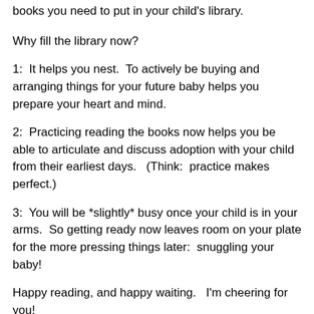books you need to put in your child's library.
Why fill the library now?
1:  It helps you nest.  To actively be buying and arranging things for your future baby helps you prepare your heart and mind.
2:  Practicing reading the books now helps you be able to articulate and discuss adoption with your child from their earliest days.   (Think:  practice makes perfect.)
3:  You will be *slightly* busy once your child is in your arms.  So getting ready now leaves room on your plate for the more pressing things later:  snuggling your baby!
Happy reading, and happy waiting.   I'm cheering for you!